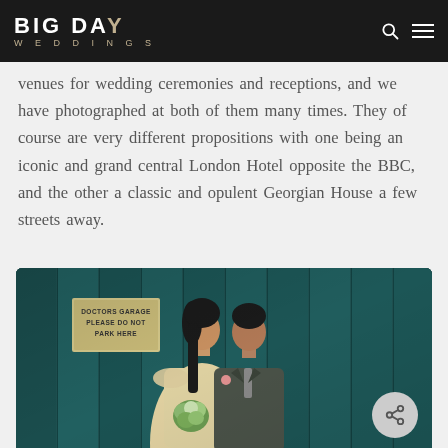BIG DAY WEDDINGS
venues for wedding ceremonies and receptions, and we have photographed at both of them many times. They of course are very different propositions with one being an iconic and grand central London Hotel opposite the BBC, and the other a classic and opulent Georgian House a few streets away.
[Figure (photo): Wedding couple standing in front of a dark teal wooden background with a 'Doctors Garage Please Do Not Park Here' sign. The bride is in a light beaded dress holding a green bouquet, and the groom is in a grey suit. A share button is visible in the bottom right corner.]